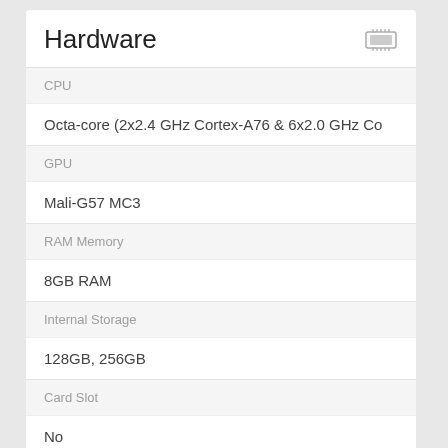Hardware
CPU
Octa-core (2x2.4 GHz Cortex-A76 & 6x2.0 GHz Co
GPU
Mali-G57 MC3
RAM Memory
8GB RAM
Internal Storage
128GB, 256GB
Card Slot
No
Sensors